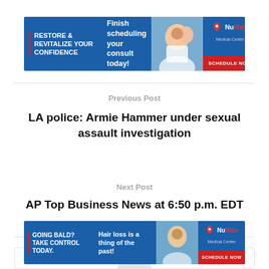[Figure (other): NuMale Medical Center advertisement banner: 'RESTORE & REVITALIZE YOUR CONFIDENCE | Finish scheduling your consult today!' with SCHEDULE NOW button and photo of couple]
Previous Post
LA police: Armie Hammer under sexual assault investigation
Next Post
AP Top Business News at 6:50 p.m. EDT
[Figure (other): NuMale Medical Center advertisement banner: 'GOING BALD? TAKE CONTROL TODAY. | Hair loss is a thing of the past!' with SCHEDULE NOW button and photo of man]